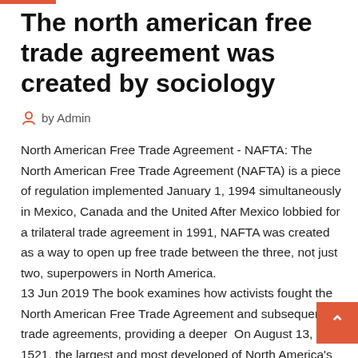The north american free trade agreement was created by sociology
by Admin
North American Free Trade Agreement - NAFTA: The North American Free Trade Agreement (NAFTA) is a piece of regulation implemented January 1, 1994 simultaneously in Mexico, Canada and the United After Mexico lobbied for a trilateral trade agreement in 1991, NAFTA was created as a way to open up free trade between the three, not just two, superpowers in North America.
13 Jun 2019 The book examines how activists fought the North American Free Trade Agreement and subsequent trade agreements, providing a deeper  On August 13, 1521, the largest and most developed of North America's societies James W. Russell is University Professor of Sociology and